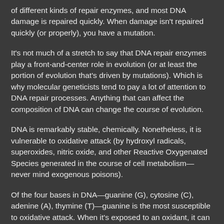of different kinds of repair enzymes, and most DNA damage is repaired quickly. When damage isn't repaired quickly (or properly), you have a mutation.
It's not much of a stretch to say that DNA repair enzymes play a front-and-center role in evolution (or at least the portion of evolution that's driven by mutations). Which is why molecular geneticists tend to pay a lot of attention to DNA repair processes. Anything that can affect the composition of DNA can change the course of evolution.
DNA is remarkably stable, chemically. Nonetheless, it is vulnerable to oxidative attack (by hydroxyl radicals, superoxides, nitric oxide, and other Reactive Oxygenated Species generated in the course of cell metabolism—never mind exogenous poisons).
Of the four bases in DNA—guanine (G), cytosine (C), adenine (A), thymine (T)—guanine is the most susceptible to oxidative attack. When it's exposed to an oxidant, it can form 7,8-dihydro-8-oxoguanine, OG for short. What can happen then is, the OG residue in DNA pivots around its ribosyl bond